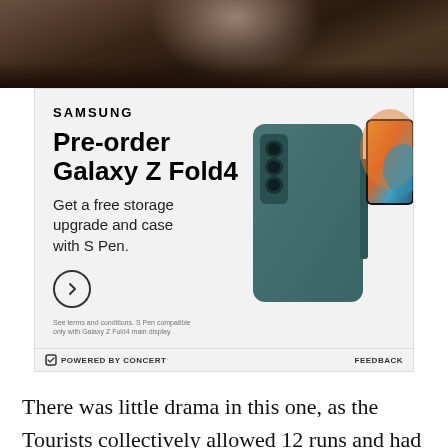[Figure (photo): Partial photo of a person, dark background, appears to be holding something above their head]
[Figure (infographic): Samsung advertisement for Galaxy Z Fold4 pre-order. Text: SAMSUNG. Pre-order Galaxy Z Fold4. Get a free storage upgrade and case with S Pen. Shows a teal/green Samsung Galaxy Z Fold4 phone with S Pen. Small print: See terms and conditions. S Pen compatible only with Galaxy Z Fold4 main display. Powered by Concert. Feedback.]
There was little drama in this one, as the Tourists collectively allowed 12 runs and had more errors, five, than hits, three. Wes Rogers stole another two bases,